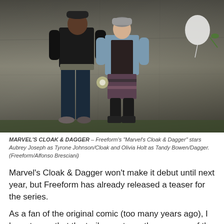[Figure (photo): Two actors standing in front of a concrete wall. A male figure on the left wearing a black varsity jacket and dark jeans, and a female figure on the right wearing a denim jacket, striped dress, and black boots.]
MARVEL'S CLOAK & DAGGER – Freeform's "Marvel's Cloak & Dagger" stars Aubrey Joseph as Tyrone Johnson/Cloak and Olivia Holt as Tandy Bowen/Dagger. (Freeform/Alfonso Bresciani)
Marvel's Cloak & Dagger won't make it debut until next year, but Freeform has already released a teaser for the series.
As a fan of the original comic (too many years ago), I have to say that the trailer captures the essence of the comic – the duo's situations prior to meeting each other; the hesitance as